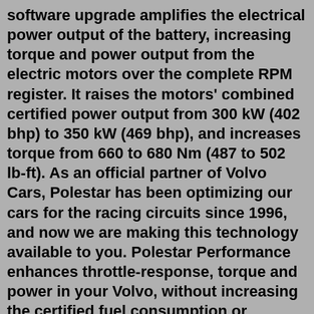software upgrade amplifies the electrical power output of the battery, increasing torque and power output from the electric motors over the complete RPM register. It raises the motors' combined certified power output from 300 kW (402 bhp) to 350 kW (469 bhp), and increases torque from 660 to 680 Nm (487 to 502 lb-ft). As an official partner of Volvo Cars, Polestar has been optimizing our cars for the racing circuits since 1996, and now we are making this technology available to you. Polestar Performance enhances throttle-response, torque and power in your Volvo, without increasing the certified fuel consumption or affecting your Volvo's Original Warranty. Top speed is 127mph. As of April 2022, all versions of the dual-motor Polestar 2s fitted with the optional Performance Pack get an increase in power to 469bhp and 680Nm of torque. The boost in power shaves just a tenth off the Polestar's 0-62mph time. While not as quick, the more single-motor, front-wheel-drive Polestar 2s still offer instant ...The